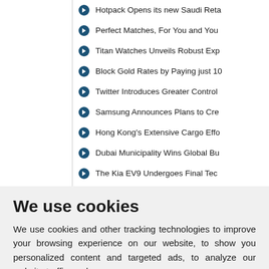Hotpack Opens its new Saudi Reta...
Perfect Matches, For You and You...
Titan Watches Unveils Robust Exp...
Block Gold Rates by Paying just 10...
Twitter Introduces Greater Control...
Samsung Announces Plans to Cre...
Hong Kong's Extensive Cargo Effo...
Dubai Municipality Wins Global Bu...
The Kia EV9 Undergoes Final Tec...
We use cookies
We use cookies and other tracking technologies to improve your browsing experience on our website, to show you personalized content and targeted ads, to analyze our website traffic, and